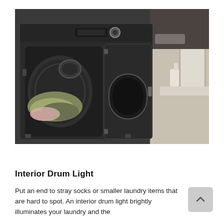[Figure (photo): A dark-colored top-load dryer with the door open, revealing laundry items inside the drum. The appliance is set in a laundry room environment with a window and shelf visible in the background.]
Interior Drum Light
Put an end to stray socks or smaller laundry items that are hard to spot. An interior drum light brightly illuminates your laundry and the